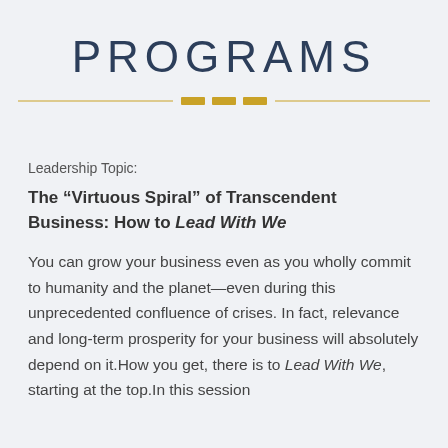PROGRAMS
Leadership Topic:
The “Virtuous Spiral” of Transcendent Business: How to Lead With We
You can grow your business even as you wholly commit to humanity and the planet—even during this unprecedented confluence of crises. In fact, relevance and long-term prosperity for your business will absolutely depend on it.How you get, there is to Lead With We, starting at the top.In this session